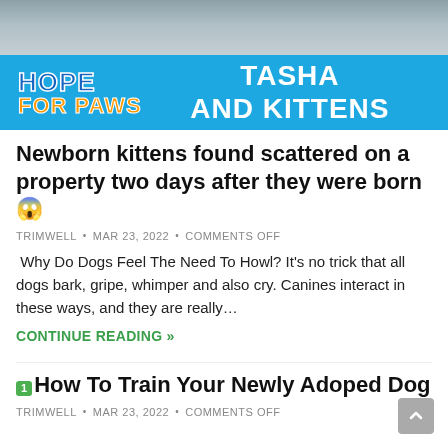[Figure (photo): Banner image: Hope For Paws logo on blue background with text 'TASHA AND KITTENS' and a photo of kittens at the top]
Newborn kittens found scattered on a property two days after they were born 😱
TRIMWELL • MAR 23, 2022 • COMMENTS OFF
Why Do Dogs Feel The Need To Howl? It's no trick that all dogs bark, gripe, whimper and also cry. Canines interact in these ways, and they are really…
CONTINUE READING »
How To Train Your Newly Adoped Dog
TRIMWELL • MAR 23, 2022 • COMMENTS OFF